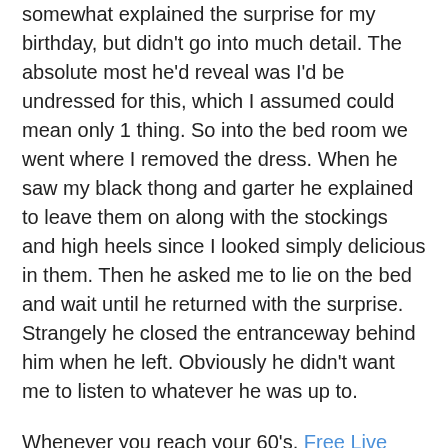somewhat explained the surprise for my birthday, but didn't go into much detail. The absolute most he'd reveal was I'd be undressed for this, which I assumed could mean only 1 thing. So into the bed room we went where I removed the dress. When he saw my black thong and garter he explained to leave them on along with the stockings and high heels since I looked simply delicious in them. Then he asked me to lie on the bed and wait until he returned with the surprise. Strangely he closed the entranceway behind him when he left. Obviously he didn't want me to listen to whatever he was up to.
Whenever you reach your 60's, Free Live Sex usually the one day you tend to dread can be your birthday. Not just a fun day as when younger. Even when you can't help but be thankful to own managed to get another year, it's a memory you're getting ever closer to the eventual visit by the grim reaper. With having said that, for my birthday my husband Walter would most likely take me out for lunch with friends to celebrate. Been kind of a ritual the past few years, along side some mandatory birthday sex. With this in mind I showered and prettied myself up for a morning out. I even dug through